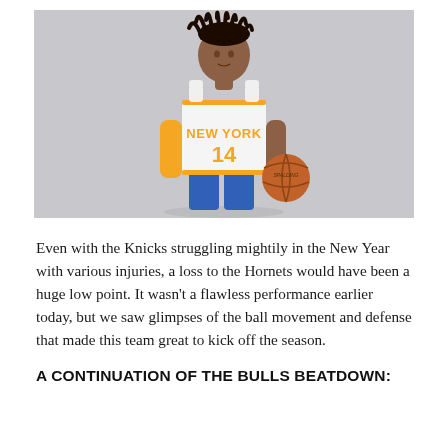[Figure (photo): A basketball player wearing a white New York Knicks jersey number 14 with orange lettering, holding a basketball in his right hand and wearing an orange arm sleeve on his left arm. He has dreadlocks and is posing against a light gray background.]
Even with the Knicks struggling mightily in the New Year with various injuries, a loss to the Hornets would have been a huge low point. It wasn't a flawless performance earlier today, but we saw glimpses of the ball movement and defense that made this team great to kick off the season.
A CONTINUATION OF THE BULLS BEATDOWN: